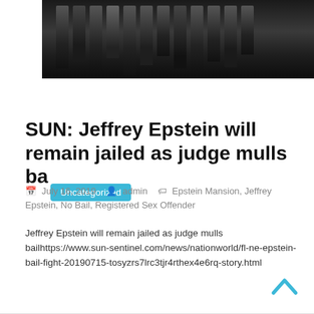[Figure (photo): Dark photo of metal bars or fence in low light]
Uncategorized
SUN: Jeffrey Epstein will remain jailed as judge mulls ba
July 16, 2019   admin   Epstein Mansion, Jeffrey Epstein, No Bail, Registered Sex Offender
Jeffrey Epstein will remain jailed as judge mulls bailhttps://www.sun-sentinel.com/news/nationworld/fl-ne-epstein-bail-fight-20190715-tosyzrs7lrc3tjr4rthex4e6rq-story.html
Read more